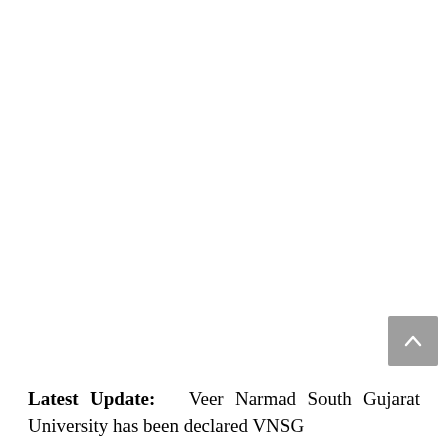Latest Update: Veer Narmad South Gujarat University has been declared VNSG